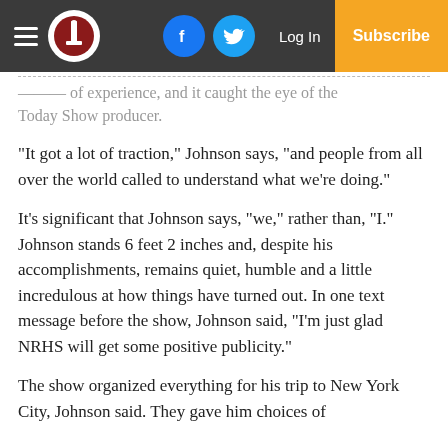Navigation bar with hamburger menu, logo, Facebook button, Twitter button, Log In, Subscribe
...of experience, and it caught the eye of the Today Show producer.
“It got a lot of traction,” Johnson says, “and people from all over the world called to understand what we’re doing.”
It’s significant that Johnson says, “we,” rather than, “I.” Johnson stands 6 feet 2 inches and, despite his accomplishments, remains quiet, humble and a little incredulous at how things have turned out. In one text message before the show, Johnson said, “I’m just glad NRHS will get some positive publicity.”
The show organized everything for his trip to New York City, Johnson said. They gave him choices of